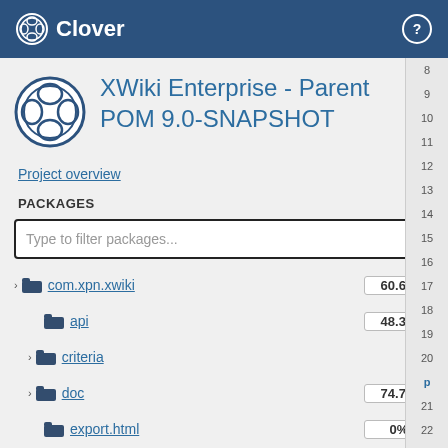Clover
XWiki Enterprise - Parent POM 9.0-SNAPSHOT
Project overview
PACKAGES
| Package | Coverage |
| --- | --- |
| com.xpn.xwiki | 60.6% |
| api | 48.3% |
| criteria |  |
| doc | 74.7% |
| export.html | 0% |
| gwt.api.server | 0% |
| internal | 86.3% |
| job | 92.4% |
| monitor.api | 0% |